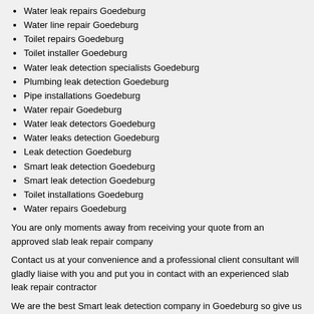Water leak repairs Goedeburg
Water line repair Goedeburg
Toilet repairs Goedeburg
Toilet installer Goedeburg
Water leak detection specialists Goedeburg
Plumbing leak detection Goedeburg
Pipe installations Goedeburg
Water repair Goedeburg
Water leak detectors Goedeburg
Water leaks detection Goedeburg
Leak detection Goedeburg
Smart leak detection Goedeburg
Smart leak detection Goedeburg
Toilet installations Goedeburg
Water repairs Goedeburg
You are only moments away from receiving your quote from an approved slab leak repair company
Contact us at your convenience and a professional client consultant will gladly liaise with you and put you in contact with an experienced slab leak repair contractor
We are the best Smart leak detection company in Goedeburg so give us a call at: 010 109 3732 today!
Building construction companies in Goedeburg >>